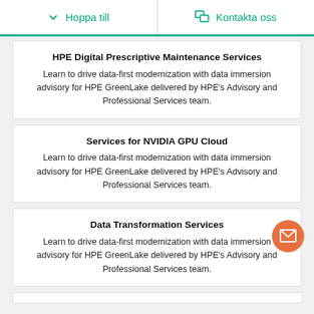Hoppa till | Kontakta oss
HPE Digital Prescriptive Maintenance Services
Learn to drive data-first modernization with data immersion advisory for HPE GreenLake delivered by HPE's Advisory and Professional Services team.
Services for NVIDIA GPU Cloud
Learn to drive data-first modernization with data immersion advisory for HPE GreenLake delivered by HPE's Advisory and Professional Services team.
Data Transformation Services
Learn to drive data-first modernization with data immersion advisory for HPE GreenLake delivered by HPE's Advisory and Professional Services team.